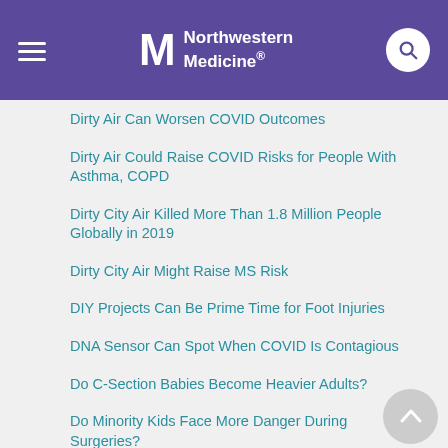Northwestern Medicine
Dirty Air Can Worsen COVID Outcomes
Dirty Air Could Raise COVID Risks for People With Asthma, COPD
Dirty City Air Killed More Than 1.8 Million People Globally in 2019
Dirty City Air Might Raise MS Risk
DIY Projects Can Be Prime Time for Foot Injuries
DNA Sensor Can Spot When COVID Is Contagious
Do C-Section Babies Become Heavier Adults?
Do Minority Kids Face More Danger During Surgeries?